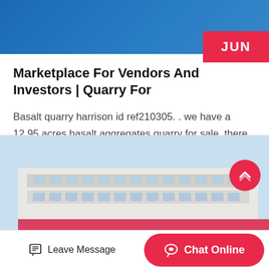[Figure (photo): Top banner image showing blue background with partial photo of people or scene]
Marketplace For Vendors And Investors | Quarry For
Basalt quarry harrison id ref210305. . we have a 12.95 acres basalt aggregates quarry for sale. there are 3,5million pounds of reserves and the quarry is permitted until 2024. quarry is operational and c…
Get Price  >
[Figure (photo): Bottom image showing a white multi-story building with large windows against a blue sky]
Leave Message
Chat Online